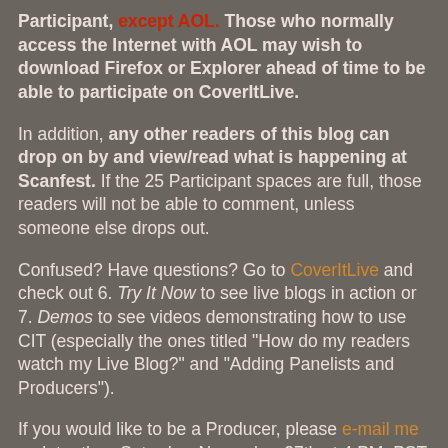Participant, except AOL. Those who normally access the Internet with AOL may wish to download Firefox or Explorer ahead of time to be able to participate on CoverItLive.
In addition, any other readers of this blog can drop on by and view/read what is happening at Scanfest. If the 25 Participant spaces are full, those readers will not be able to comment, unless someone else drops out.
Confused? Have questions? Go to CoverItLive and check out 6. Try It Now to see live blogs in action or 7. Demos to see videos demonstrating how to use CIT (especially the ones titled "How do my readers watch my Live Blog?" and "Adding Panelists and Producers").
If you would like to be a Producer, please e-mail me no later than Saturday, November 27th at 4 PM, PST and I'll send you an invitation. Preference will given to previous Scanfesters. You must set up an account (free!) ahead of time to be a Producer. This account will be used for all...